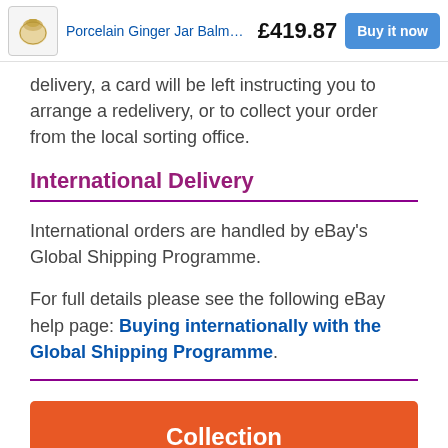Porcelain Ginger Jar Balmor… £419.87  Buy it now
delivery, a card will be left instructing you to arrange a redelivery, or to collect your order from the local sorting office.
International Delivery
International orders are handled by eBay's Global Shipping Programme.
For full details please see the following eBay help page: Buying internationally with the Global Shipping Programme.
Collection